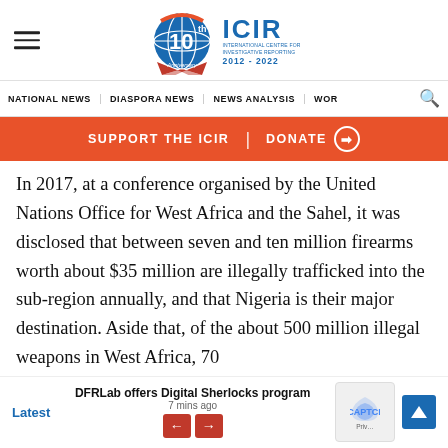ICIR — International Centre for Investigative Reporting. 10th Anniversary. 2012–2022.
NATIONAL NEWS | DIASPORA NEWS | NEWS ANALYSIS | WOR
[Figure (infographic): Orange support banner reading: SUPPORT THE ICIR | DONATE →]
In 2017, at a conference organised by the United Nations Office for West Africa and the Sahel, it was disclosed that between seven and ten million firearms worth about $35 million are illegally trafficked into the sub-region annually, and that Nigeria is their major destination. Aside that, of the about 500 million illegal weapons in West Africa, 70
Latest | DFRLab offers Digital Sherlocks program | 7 mins ago